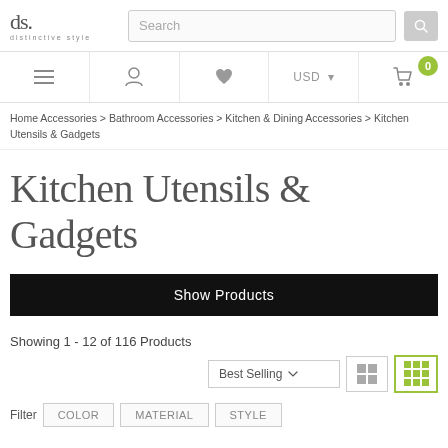[Figure (logo): ds. distinctive style logo]
Search bar and navigation icons including menu, user, wishlist, USD currency selector, and cart with 0 items
Home Accessories > Bathroom Accessories > Kitchen & Dining Accessories > Kitchen Utensils & Gadgets
Kitchen Utensils & Gadgets
Show Products
Showing 1 - 12 of 116 Products
Best Selling ▼ [list view] [grid view]
Filter  COLOR  MATERIAL  STYLE